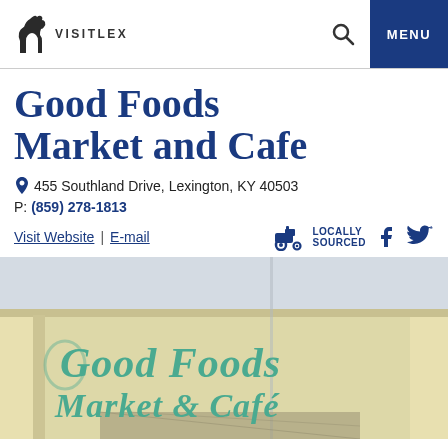VISITLEX
Good Foods Market and Cafe
455 Southland Drive, Lexington, KY 40503
P: (859) 278-1813
Visit Website | E-mail | LOCALLY SOURCED
[Figure (photo): Exterior of Good Foods Market and Cafe building showing storefront sign with teal lettering reading Good Foods Market & Cafe on a yellow building facade]